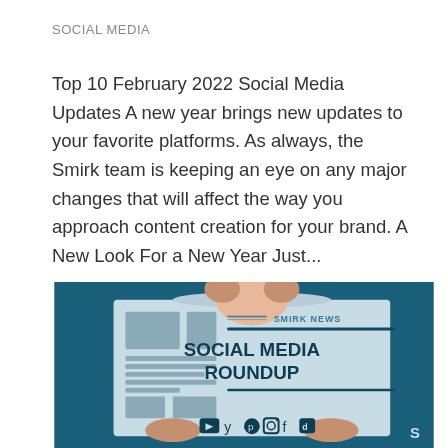SOCIAL MEDIA
Top 10 February 2022 Social Media Updates A new year brings new updates to your favorite platforms. As always, the Smirk team is keeping an eye on any major changes that will affect the way you approach content creation for your brand. A New Look For a New Year Just...
[Figure (illustration): Illustration of a person holding a newspaper styled as 'Smirk News' with a 'Social Media Roundup' headline on a teal/dark blue background, featuring social media platform icons at the bottom]